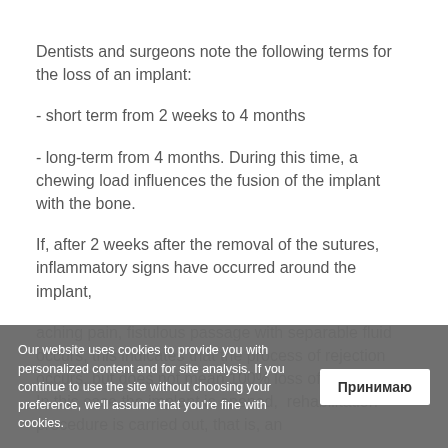Dentists and surgeons note the following terms for the loss of an implant:
- short term from 2 weeks to 4 months
- long-term from 4 months. During this time, a chewing load influences the fusion of the implant with the bone.
If, after 2 weeks after the removal of the sutures, inflammatory signs have occurred around the implant,
aching pain, fistulous passage with separable fluid occurs, this indicates that the process of rejection occurs, but does not mean 100% loss of the implant. In this case the implant is opened, rehabilitation procedure is carried out, that is, an
Our website uses cookies to provide you with personalized content and for site analysis. If you continue to use the site without choosing your preference, we'll assume that you're fine with cookies.